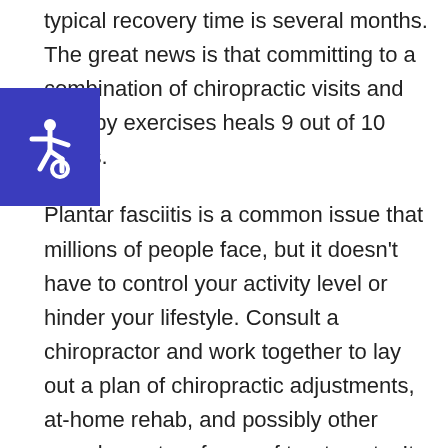[Figure (logo): Accessibility icon (wheelchair symbol) in white on a blue square background]
typical recovery time is several months. The great news is that committing to a combination of chiropractic visits and therapy exercises heals 9 out of 10 cases.

Plantar fasciitis is a common issue that millions of people face, but it doesn't have to control your activity level or hinder your lifestyle. Consult a chiropractor and work together to lay out a plan of chiropractic adjustments, at-home rehab, and possibly other complementary forms of treatments. It may take time, but plantar fasciitis sufferers can eventually reach a point where they are pain free and their mobility is unhindered!